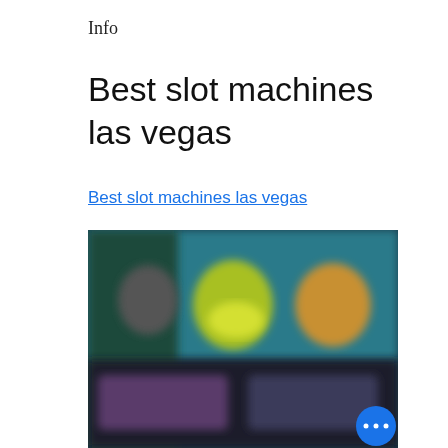Info
Best slot machines las vegas
Best slot machines las vegas
[Figure (screenshot): A blurred screenshot of a slot machine game interface with colorful characters and teal/dark background, showing a casino gaming app interface]